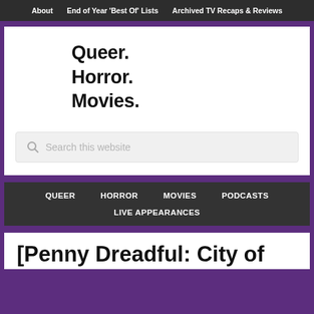About | End of Year 'Best Of' Lists | Archived TV Recaps & Reviews
Queer.
Horror.
Movies.
Search this website
QUEER | HORROR | MOVIES | PODCASTS | LIVE APPEARANCES
[Penny Dreadful: City of